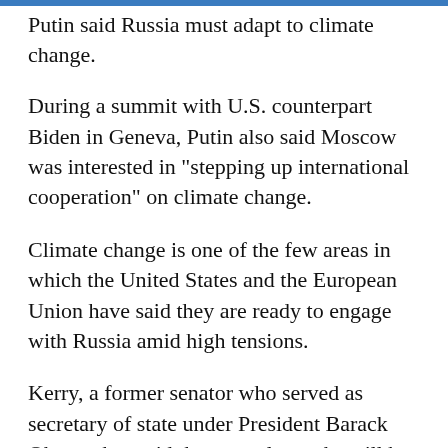Putin said Russia must adapt to climate change.
During a summit with U.S. counterpart Biden in Geneva, Putin also said Moscow was interested in "stepping up international cooperation" on climate change.
Climate change is one of the few areas in which the United States and the European Union have said they are ready to engage with Russia amid high tensions.
Kerry, a former senator who served as secretary of state under President Barack Obama, has said the several months will be critical in shoring up support to upgrade commitments in the 2015 Paris Agreement.